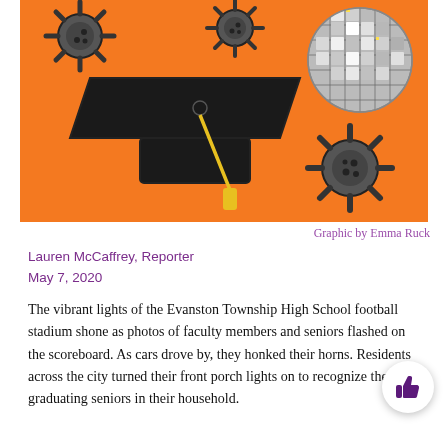[Figure (illustration): Orange background illustration with coronavirus particles (dark gray spiky circles), a black graduation cap with yellow tassel, and a disco ball (gray reflective sphere) — themed around pandemic graduation]
Graphic by Emma Ruck
Lauren McCaffrey, Reporter
May 7, 2020
The vibrant lights of the Evanston Township High School football stadium shone as photos of faculty members and seniors flashed on the scoreboard. As cars drove by, they honked their horns. Residents across the city turned their front porch lights on to recognize the graduating seniors in their household.